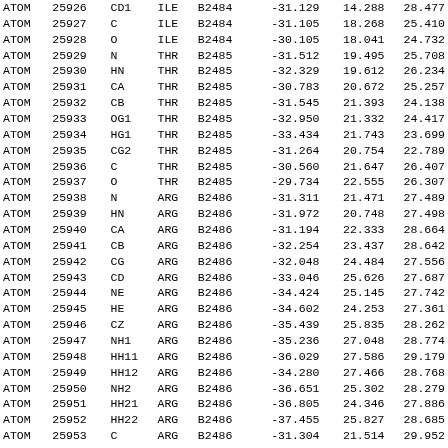| Record | Serial | Atom | Res | Chain | X | Y | Z |
| --- | --- | --- | --- | --- | --- | --- | --- |
| ATOM | 25926 | CD1 | ILE | B2484 | -31.129 | 14.288 | 28.477 |
| ATOM | 25927 | C | ILE | B2484 | -31.105 | 18.268 | 25.410 |
| ATOM | 25928 | O | ILE | B2484 | -30.105 | 18.041 | 24.732 |
| ATOM | 25929 | N | THR | B2485 | -31.512 | 19.495 | 25.708 |
| ATOM | 25930 | HN | THR | B2485 | -32.329 | 19.612 | 26.234 |
| ATOM | 25931 | CA | THR | B2485 | -30.783 | 20.672 | 25.257 |
| ATOM | 25932 | CB | THR | B2485 | -31.545 | 21.393 | 24.138 |
| ATOM | 25933 | OG1 | THR | B2485 | -32.950 | 21.332 | 24.417 |
| ATOM | 25934 | HG1 | THR | B2485 | -33.434 | 21.743 | 23.699 |
| ATOM | 25935 | CG2 | THR | B2485 | -31.264 | 20.754 | 22.789 |
| ATOM | 25936 | C | THR | B2485 | -30.560 | 21.647 | 26.407 |
| ATOM | 25937 | O | THR | B2485 | -29.734 | 22.555 | 26.307 |
| ATOM | 25938 | N | ARG | B2486 | -31.311 | 21.471 | 27.489 |
| ATOM | 25939 | HN | ARG | B2486 | -31.972 | 20.748 | 27.498 |
| ATOM | 25940 | CA | ARG | B2486 | -31.194 | 22.333 | 28.664 |
| ATOM | 25941 | CB | ARG | B2486 | -32.254 | 23.437 | 28.642 |
| ATOM | 25942 | CG | ARG | B2486 | -32.048 | 24.484 | 27.556 |
| ATOM | 25943 | CD | ARG | B2486 | -33.046 | 25.626 | 27.687 |
| ATOM | 25944 | NE | ARG | B2486 | -34.424 | 25.145 | 27.742 |
| ATOM | 25945 | HE | ARG | B2486 | -34.602 | 24.253 | 27.361 |
| ATOM | 25946 | CZ | ARG | B2486 | -35.439 | 25.835 | 28.262 |
| ATOM | 25947 | NH1 | ARG | B2486 | -35.236 | 27.048 | 28.774 |
| ATOM | 25948 | HH11 | ARG | B2486 | -36.029 | 27.586 | 29.179 |
| ATOM | 25949 | HH12 | ARG | B2486 | -34.280 | 27.466 | 28.768 |
| ATOM | 25950 | NH2 | ARG | B2486 | -36.651 | 25.302 | 28.279 |
| ATOM | 25951 | HH21 | ARG | B2486 | -36.805 | 24.346 | 27.886 |
| ATOM | 25952 | HH22 | ARG | B2486 | -37.455 | 25.827 | 28.685 |
| ATOM | 25953 | C | ARG | B2486 | -31.304 | 21.514 | 29.952 |
| ATOM | 25954 | O | ARG | B2486 | -31.827 | 20.394 | 29.944 |
| ATOM | 25955 | N | PHE | B2487 | -30.802 | 22.072 | 31.054 |